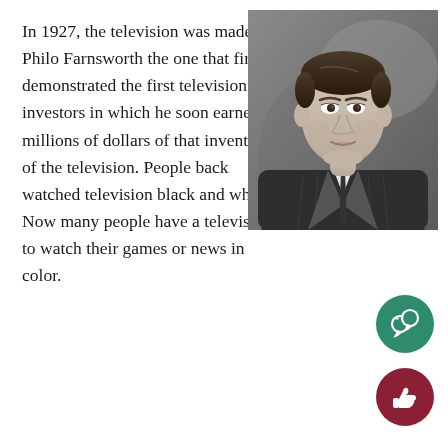In 1927, the television was made. Philo Farnsworth the one that first demonstrated the first television to investors in which he soon earned millions of dollars of that invention of the television. People back watched television black and white. Now many people have a television to watch their games or news in color.
[Figure (photo): Black and white portrait photograph of Philo Farnsworth, a young man in a suit and tie]